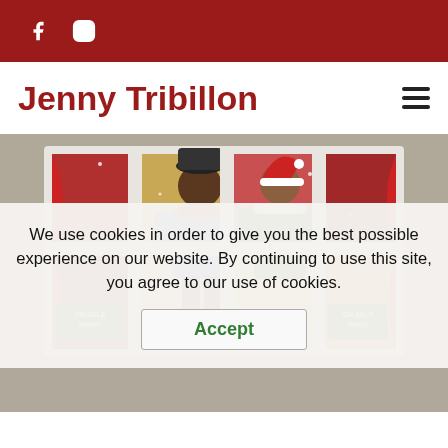Facebook and Instagram social icons
Jenny Tribillon
[Figure (photo): Stained glass style window artwork showing two figures (a boy in a blue coat and a girl in a green coat) looking into a shop window at Christmas, with red curtains and Santa visible. 'On Sale Here' green signs visible in lower panes.]
We use cookies in order to give you the best possible experience on our website. By continuing to use this site, you agree to our use of cookies.
Accept